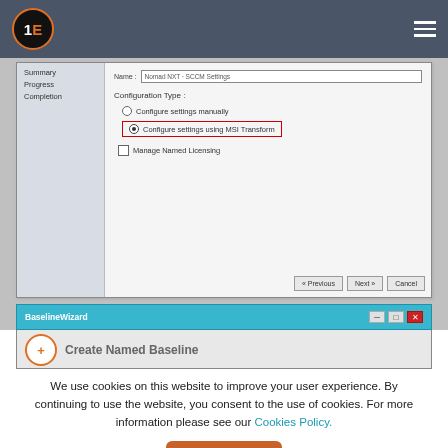[Figure (screenshot): 1E website navigation bar with orange and black logo and hamburger menu on dark gray background]
[Figure (screenshot): Windows installer wizard dialog showing Configuration Type options: 'Configure settings manually' and 'Configure settings using MSI Transform' (selected, highlighted in red box), with 'Manage Named Licensing' checkbox, and Previous/Next/Cancel buttons. Below it, a BaselineWizard window title bar and partial view of Create Named Baseline dialog.]
We use cookies on this website to improve your user experience. By continuing to use the website, you consent to the use of cookies. For more information please see our Cookies Policy.
Accept